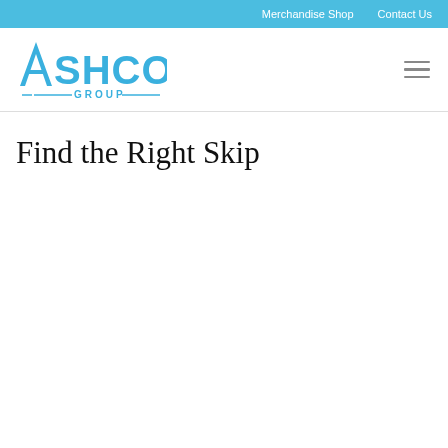Merchandise Shop   Contact Us
[Figure (logo): Ashcourt Group logo in blue with geometric angular letters and decorative lines around GROUP text]
Find the Right Skip